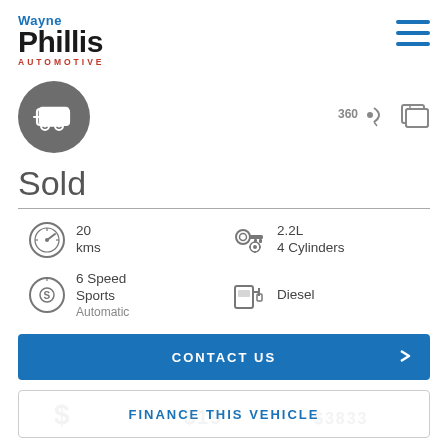[Figure (logo): Wayne Phillis Automotive logo - Wayne in blue, Phillis in black bold large text, AUTOMOTIVE in red small caps]
[Figure (illustration): Hamburger menu icon (three horizontal blue lines)]
[Figure (illustration): Grey circle with caravan/trailer icon inside]
[Figure (illustration): 360 degree view icon]
[Figure (illustration): Photo gallery icon]
Sold
20 kms
2.2L 4 Cylinders
6 Speed Sports Automatic
Diesel
CONTACT US
FINANCE THIS VEHICLE